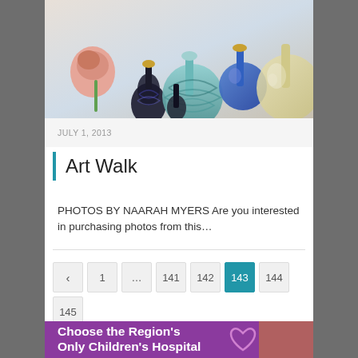[Figure (photo): Colorful glass art bottles and vases arranged on a white surface — includes red, blue, swirled teal/white, and amber glass pieces]
JULY 1, 2013
Art Walk
PHOTOS BY NAARAH MYERS Are you interested in purchasing photos from this…
[Figure (photo): Purple advertisement banner reading 'Choose the Region's Only Children's Hospital' with a heart outline and a partial photo of a person on the right]